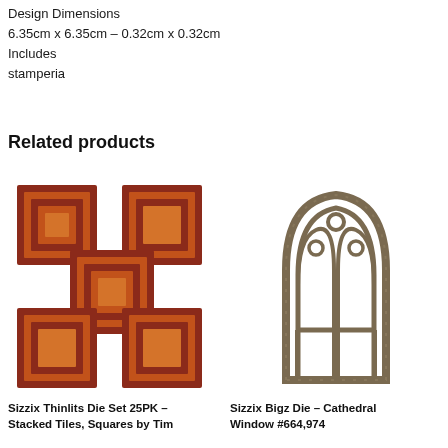Design Dimensions
6.35cm x 6.35cm – 0.32cm x 0.32cm
Includes
stamperia
Related products
[Figure (photo): Sizzix Thinlits Die Set showing five nested square dies in dark red and orange]
[Figure (photo): Sizzix Bigz Die showing a gothic cathedral window die in aged metal finish]
Sizzix Thinlits Die Set 25PK – Stacked Tiles, Squares by Tim
Sizzix Bigz Die – Cathedral Window #664,974